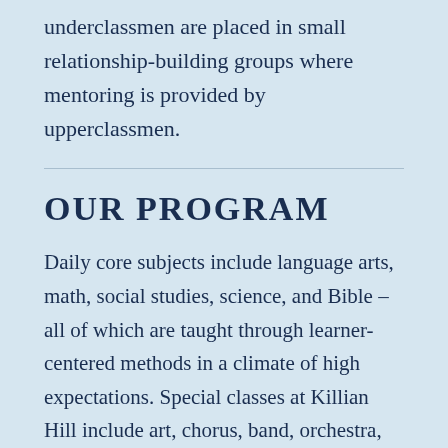underclassmen are placed in small relationship-building groups where mentoring is provided by upperclassmen.
OUR PROGRAM
Daily core subjects include language arts, math, social studies, science, and Bible – all of which are taught through learner-centered methods in a climate of high expectations. Special classes at Killian Hill include art, chorus, band, orchestra, drama, Intro to Digital Technology, and physical education. Advanced content classes are offered in math for qualifying students. In addition to interactive classes, students